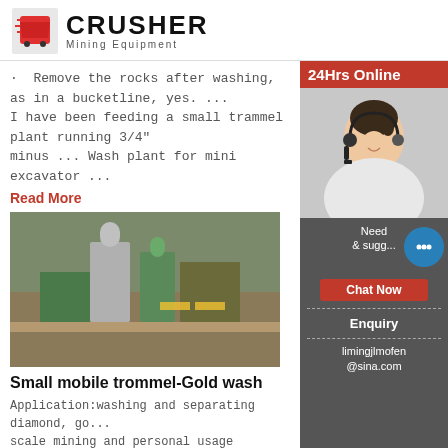[Figure (logo): CRUSHER Mining Equipment logo with red shopping cart icon]
Remove the rocks after washing, as in a bucketline, yes. ... I have been feeding a small trammel plant running 3/4" minus ... Wash plant for mini excavator ...
Read More
[Figure (photo): Mining facility with industrial buildings and green structures on a hillside]
Small mobile trommel-Gold wash
Application:washing and separating diamond, go... scale mining and personal usage
Read More
[Figure (photo): Mobile equipment in outdoor setting with mist/dust]
[Figure (photo): 24Hrs Online customer service representative with headset]
Need & suggestions
Chat Now
Enquiry
limingjlmofen@sina.com